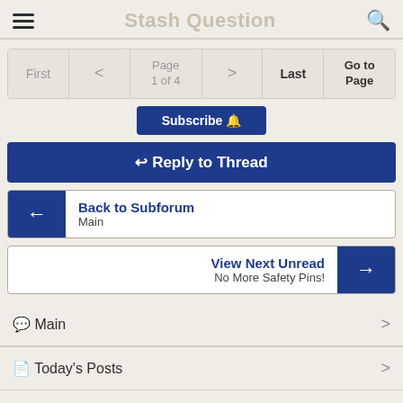Stash Question
First  < Page 1 of 4 >  Last  Go to Page
Subscribe 🔔
↩ Reply to Thread
Back to Subforum
Main
View Next Unread
No More Safety Pins!
🗨 Main
📄 Today's Posts